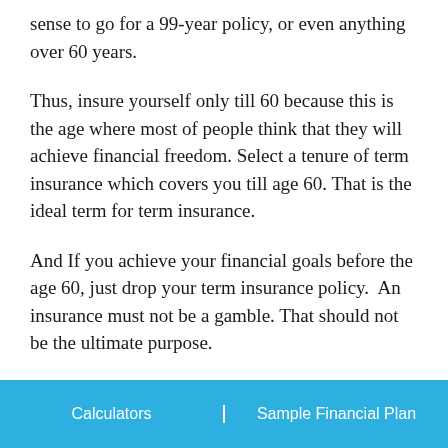sense to go for a 99-year policy, or even anything over 60 years.
Thus, insure yourself only till 60 because this is the age where most of people think that they will achieve financial freedom. Select a tenure of term insurance which covers you till age 60. That is the ideal term for term insurance.
And If you achieve your financial goals before the age 60, just drop your term insurance policy.  An insurance must not be a gamble. That should not be the ultimate purpose.
Calculators    Sample Financial Plan